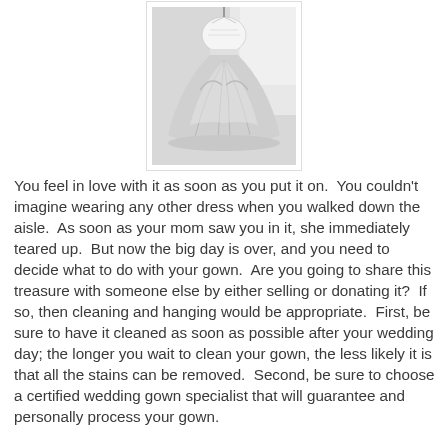[Figure (photo): Black and white photo of a wedding dress hanging, showing a full ball gown style with gathered skirt and embellished bodice]
You feel in love with it as soon as you put it on.  You couldn't imagine wearing any other dress when you walked down the aisle.  As soon as your mom saw you in it, she immediately teared up.  But now the big day is over, and you need to decide what to do with your gown.  Are you going to share this treasure with someone else by either selling or donating it?  If so, then cleaning and hanging would be appropriate.  First, be sure to have it cleaned as soon as possible after your wedding day; the longer you wait to clean your gown, the less likely it is that all the stains can be removed.  Second, be sure to choose a certified wedding gown specialist that will guarantee and personally process your gown.